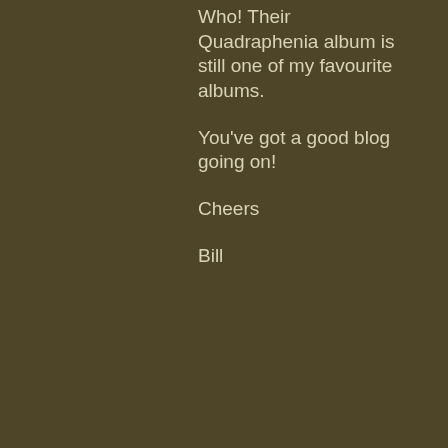Who! Their Quadraphenia album is still one of my favourite albums.
You've got a good blog going on!
Cheers
Bill
Like
Reply
7. P. Dodd Says: March 25, 2010 at 12:14 am
Advertisements
[Figure (screenshot): WooCommerce advertisement banner: 'How to start selling subscriptions online']